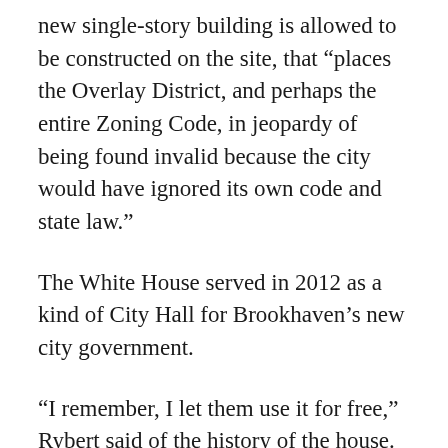new single-story building is allowed to be constructed on the site, that “places the Overlay District, and perhaps the entire Zoning Code, in jeopardy of being found invalid because the city would have ignored its own code and state law.”
The White House served in 2012 as a kind of City Hall for Brookhaven’s new city government.
“I remember, I let them use it for free,” Rybert said of the history of the house. He also said the house is not being changed in any way other than the use of new wood.